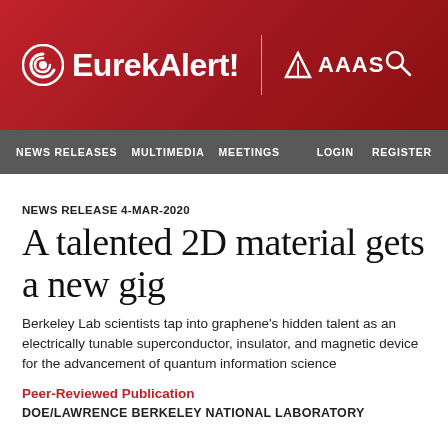[Figure (logo): EurekAlert! AAAS logo header banner in red with white EurekAlert! text and AAAS logo, plus search icon]
NEWS RELEASES   MULTIMEDIA   MEETINGS   LOGIN   REGISTER
NEWS RELEASE 4-MAR-2020
A talented 2D material gets a new gig
Berkeley Lab scientists tap into graphene's hidden talent as an electrically tunable superconductor, insulator, and magnetic device for the advancement of quantum information science
Peer-Reviewed Publication
DOE/LAWRENCE BERKELEY NATIONAL LABORATORY